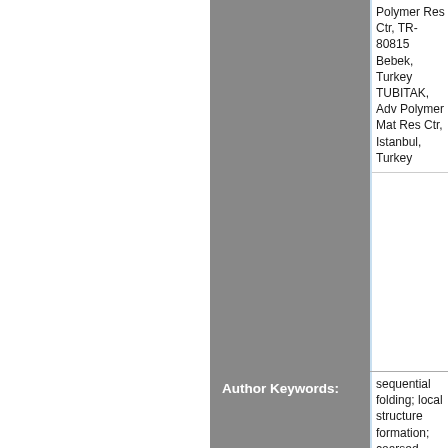Polymer Res Ctr, TR-80815 Bebek, Turkey TUBITAK, Adv Polymer Mat Res Ctr, Istanbul, Turkey
Author Keywords:
sequential folding; local structure formation; coarsed-grained simulations; knowledge-based potentials; virtual bond rotations; misfolded structures